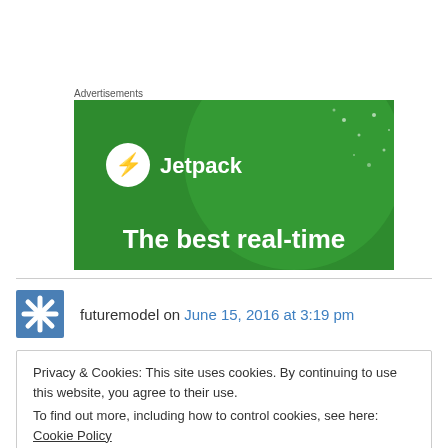Advertisements
[Figure (illustration): Jetpack advertisement banner with green background, Jetpack logo (circle with lightning bolt) and text 'The best real-time']
futuremodel on June 15, 2016 at 3:19 pm
Privacy & Cookies: This site uses cookies. By continuing to use this website, you agree to their use.
To find out more, including how to control cookies, see here: Cookie Policy
Close and accept